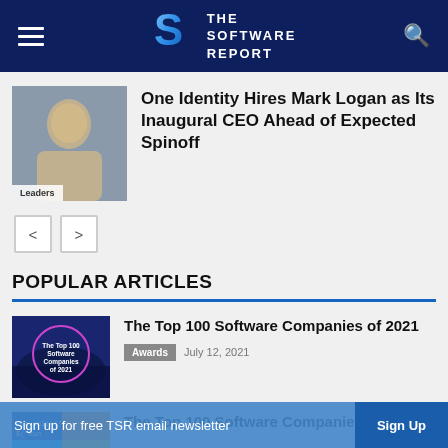THE SOFTWARE REPORT
One Identity Hires Mark Logan as Its Inaugural CEO Ahead of Expected Spinoff
POPULAR ARTICLES
The Top 100 Software Companies of 2021
Awards  July 12, 2021
The Top 100 Software Companies of 2020
Sign up for free TSR email newsletter